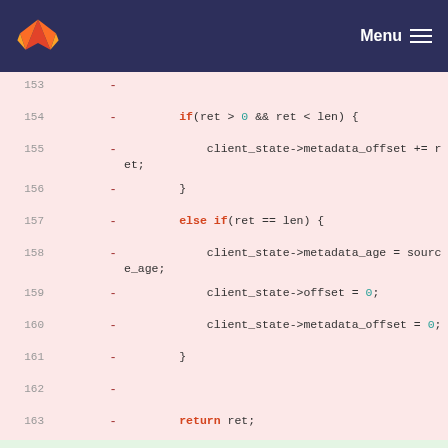[Figure (screenshot): GitLab navigation header with orange fox logo and white Menu hamburger button on dark navy background]
Code diff showing removed lines 153-163 (pink background) with C code: if(ret > 0 && ret < len) { client_state->metadata_offset += ret; } else if(ret == len) { client_state->metadata_age = source_age; client_state->offset = 0; client_state->metadata_offset = 0; } return ret; and added lines 181-183 (green background): if (free_meta) free (fullmetadata); return -1; and neutral lines 164/184: } 165/185: (empty) 166/186: static int